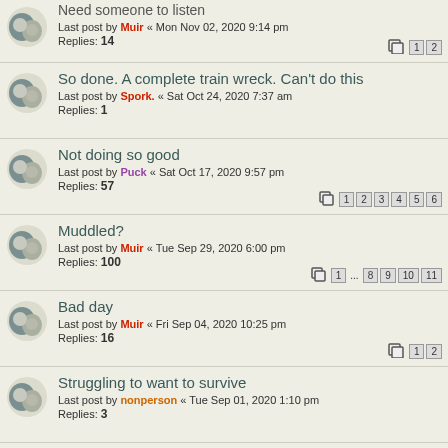Need someone to listen
Last post by Muir « Mon Nov 02, 2020 9:14 pm
Replies: 14
Pages: 1 2
So done. A complete train wreck. Can't do this
Last post by Spork. « Sat Oct 24, 2020 7:37 am
Replies: 1
Not doing so good
Last post by Puck « Sat Oct 17, 2020 9:57 pm
Replies: 57
Pages: 1 2 3 4 5 6
Muddled?
Last post by Muir « Tue Sep 29, 2020 6:00 pm
Replies: 100
Pages: 1 ... 8 9 10 11
Bad day
Last post by Muir « Fri Sep 04, 2020 10:25 pm
Replies: 16
Pages: 1 2
Struggling to want to survive
Last post by nonperson « Tue Sep 01, 2020 1:10 pm
Replies: 3
Where to find help to stop self harm....
Last post by Muir « Sat Aug 15, 2020 8:39 pm
Replies: 8